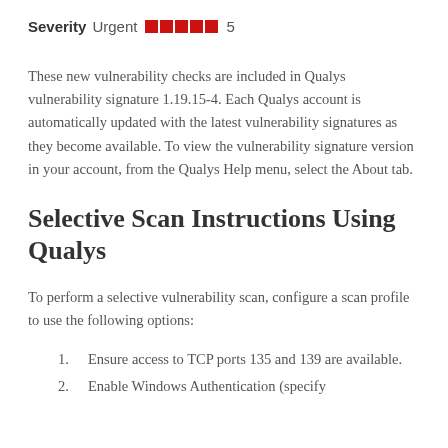Severity Urgent 5
These new vulnerability checks are included in Qualys vulnerability signature 1.19.15-4. Each Qualys account is automatically updated with the latest vulnerability signatures as they become available. To view the vulnerability signature version in your account, from the Qualys Help menu, select the About tab.
Selective Scan Instructions Using Qualys
To perform a selective vulnerability scan, configure a scan profile to use the following options:
Ensure access to TCP ports 135 and 139 are available.
Enable Windows Authentication (specify